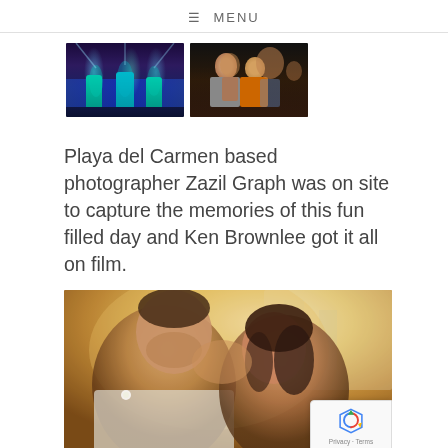≡ MENU
[Figure (photo): Two thumbnail photos side by side: left shows performers in teal/green costumes on a dark stage with colorful lighting; right shows a crowd of people at an event]
Playa del Carmen based photographer Zazil Graph was on site to capture the memories of this fun filled day and Ken Brownlee got it all on film.
[Figure (photo): A couple sharing a kiss/romantic moment, man in white jacket and woman with dark curly hair, warm golden outdoor bokeh background with buildings visible]